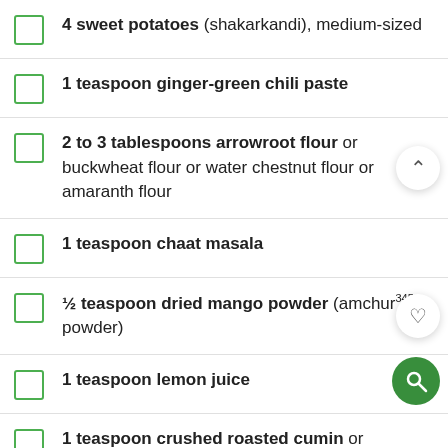4 sweet potatoes (shakarkandi), medium-sized
1 teaspoon ginger-green chili paste
2 to 3 tablespoons arrowroot flour or buckwheat flour or water chestnut flour or amaranth flour
1 teaspoon chaat masala
½ teaspoon dried mango powder (amchur345 powder)
1 teaspoon lemon juice
1 teaspoon crushed roasted cumin or powder